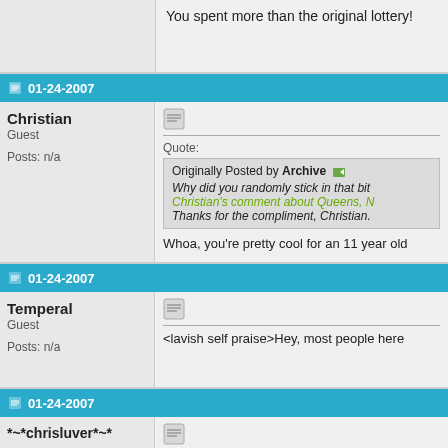You spent more than the original lottery!
01-24-2007
Christian
Guest
Posts: n/a
Quote:
Originally Posted by Archive
Why did you randomly stick in that bit
Christian's comment about Queens, N
Thanks for the compliment, Christian.

Whoa, you're pretty cool for an 11 year old
01-24-2007
Temperal
Guest
Posts: n/a
<lavish self praise>Hey, most people here
01-24-2007
*~*chrisluver*~*